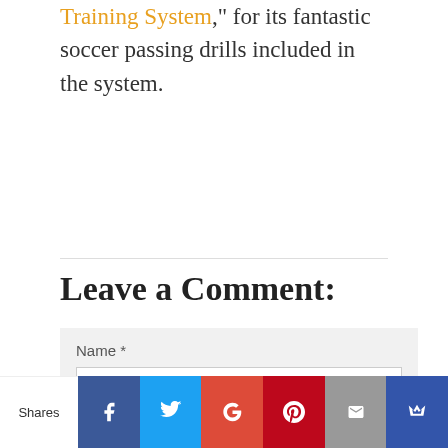Training System," for its fantastic soccer passing drills included in the system.
Leave a Comment:
Name *
Shares | Facebook | Twitter | Google+ | Pinterest | Mail | Crown